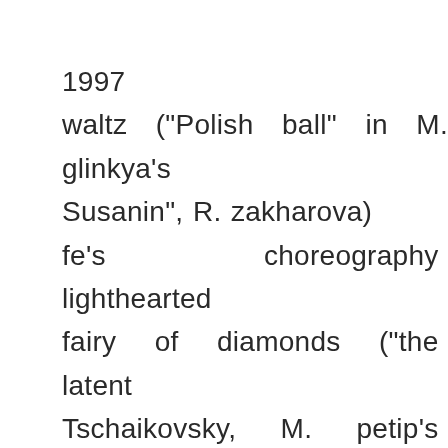1997
waltz ("Polish ball" in M. glinkya's Susanin", R. zakharova) fe's choreography lighthearted fairy of diamonds ("the latent Tschaikovsky, M. petip's choreog editorial staff Yu. grigorovicha) Kitri ("the Don Quixote"